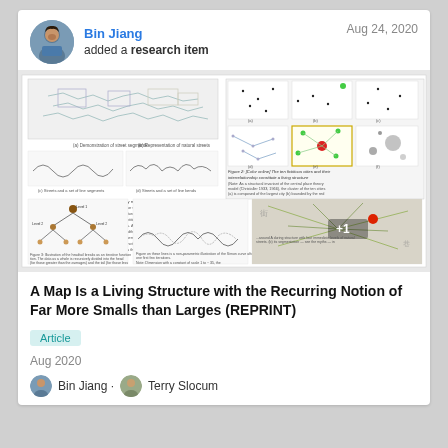Bin Jiang
added a research item
Aug 24, 2020
[Figure (screenshot): Preview of a scientific paper showing figures of street network maps, tree structures, waveform diagrams, and spatial point patterns, with a +1 overlay on the last image.]
A Map Is a Living Structure with the Recurring Notion of Far More Smalls than Larges (REPRINT)
Article
Aug 2020
Bin Jiang · Terry Slocum